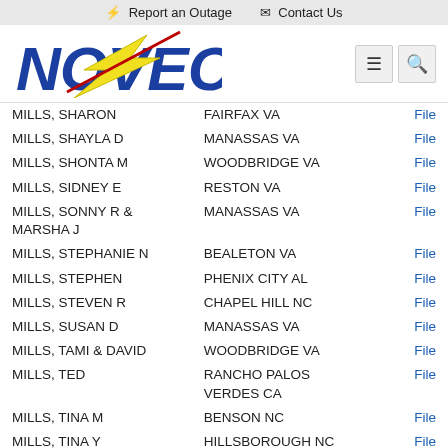⚡ Report an Outage   ✉ Contact Us
[Figure (logo): NOVEC electric cooperative logo — blue block letters with yellow lightning bolt]
| Name | City/State | Action |
| --- | --- | --- |
| MILLS, SHARON | FAIRFAX VA | File |
| MILLS, SHAYLA D | MANASSAS VA | File |
| MILLS, SHONTA M | WOODBRIDGE VA | File |
| MILLS, SIDNEY E | RESTON VA | File |
| MILLS, SONNY R & MARSHA J | MANASSAS VA | File |
| MILLS, STEPHANIE N | BEALETON VA | File |
| MILLS, STEPHEN | PHENIX CITY AL | File |
| MILLS, STEVEN R | CHAPEL HILL NC | File |
| MILLS, SUSAN D | MANASSAS VA | File |
| MILLS, TAMI & DAVID | WOODBRIDGE VA | File |
| MILLS, TED | RANCHO PALOS VERDES CA | File |
| MILLS, TINA M | BENSON NC | File |
| MILLS, TINA Y | HILLSBOROUGH NC | File |
| MILLS, TODD E & DENISE M | FAIRFAX VA | File |